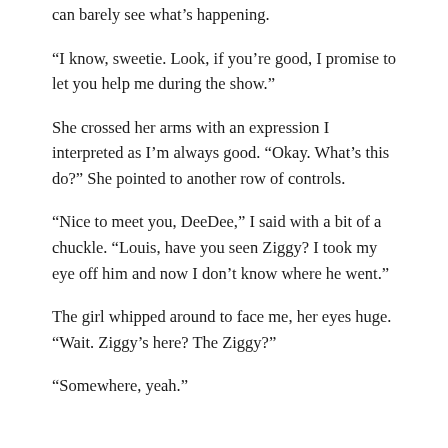can barely see what's happening.
“I know, sweetie. Look, if you’re good, I promise to let you help me during the show.”
She crossed her arms with an expression I interpreted as I’m always good. “Okay. What’s this do?” She pointed to another row of controls.
“Nice to meet you, DeeDee,” I said with a bit of a chuckle. “Louis, have you seen Ziggy? I took my eye off him and now I don’t know where he went.”
The girl whipped around to face me, her eyes huge. “Wait. Ziggy’s here? The Ziggy?”
“Somewhere, yeah.”